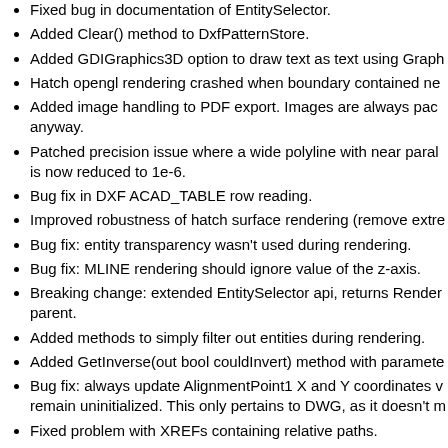Fixed bug in documentation of EntitySelector.
Added Clear() method to DxfPatternStore.
Added GDIGraphics3D option to draw text as text using Graph...
Hatch opengl rendering crashed when boundary contained ne...
Added image handling to PDF export. Images are always pac... anyway.
Patched precision issue where a wide polyline with near paral... is now reduced to 1e-6.
Bug fix in DXF ACAD_TABLE row reading.
Improved robustness of hatch surface rendering (remove extre...
Bug fix: entity transparency wasn't used during rendering.
Bug fix: MLINE rendering should ignore value of the z-axis.
Breaking change: extended EntitySelector api, returns Render... parent.
Added methods to simply filter out entities during rendering.
Added GetInverse(out bool couldInvert) method with paramete...
Bug fix: always update AlignmentPoint1 X and Y coordinates w... remain uninitialized. This only pertains to DWG, as it doesn't m...
Fixed problem with XREFs containing relative paths.
Fixed implementation not following documentation for LoadEx... LoadExternalReferences() methods. Move LoadExternalRefer... gracefully.
Added new static convenience method to deeply load all availa...
Bug fix in assigning null to DxfHatch.Pattern.
4.0.29.15 Oct 10, 2010:
Bug fix: DWG 2010 reading of HATCH entity with fit points. Re... property). Set the Image Tag property to the source entit...